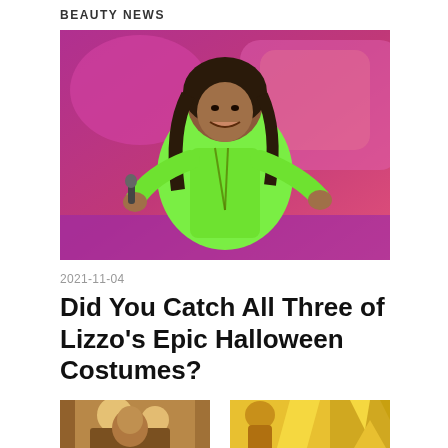BEAUTY NEWS
[Figure (photo): Lizzo performing on stage wearing a neon green latex outfit, smiling and holding a microphone, against a pink and purple backdrop]
2021-11-04
Did You Catch All Three of Lizzo's Epic Halloween Costumes?
[Figure (photo): Two partial photos at bottom: left shows a person indoors with warm lighting, right shows someone in a yellow/gold costume]